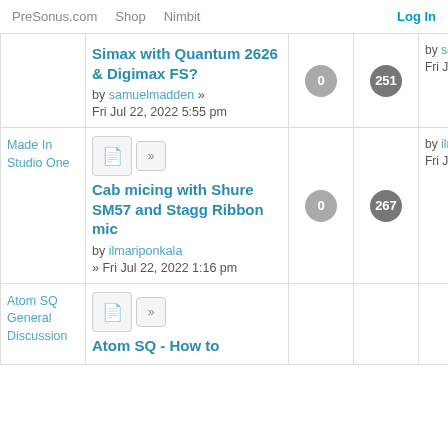PreSonus.com  Shop  Nimbit  Log In
| Category | Topic | Replies | Views | Last Post |
| --- | --- | --- | --- | --- |
|  | Simax with Quantum 2626 & Digimax FS? by samuelmadden » Fri Jul 22, 2022 5:55 pm | 0 | 251 | by samuelmadden Fri Jul 22, 2022 5:55 pm |
| Made In Studio One | Cab micing with Shure SM57 and Stagg Ribbon mic by ilmariponkala » Fri Jul 22, 2022 1:16 pm | 0 | 267 | by ilmariponkala Fri Jul 22, 2022 1:16 pm |
| Atom SQ General Discussion | Atom SQ - How to ... |  |  |  |